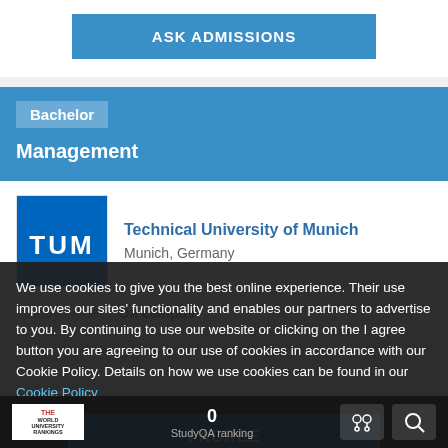ASK ADMISSIONS
Bachelor
Management
[Figure (logo): Technical University of Munich (TUM) blue square logo with white TUM letters]
Technical University of Munich
Munich, Germany
Study mode:  On campus
We use cookies to give you the best online experience. Their use improves our sites' functionality and enables our partners to advertise to you. By continuing to use our website or clicking on the I agree button you are agreeing to our use of cookies in accordance with our Cookie Policy. Details on how we use cookies can be found in our Cookie Policy
I AGREE
0
StudyQA ranking